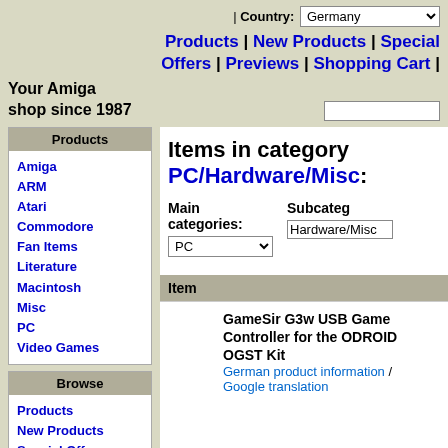| Country: Germany
Products | New Products | Special Offers | Previews | Shopping Cart |
Your Amiga shop since 1987
Products
Amiga
ARM
Atari
Commodore
Fan Items
Literature
Macintosh
Misc
PC
Video Games
Browse
Products
New Products
Special Offers
Clearance
Previews
Items in category PC/Hardware/Misc:
Main categories: PC | Subcategory: Hardware/Misc
Item
GameSir G3w USB Game Controller for the ODROID OGST Kit
German product information / Google translation